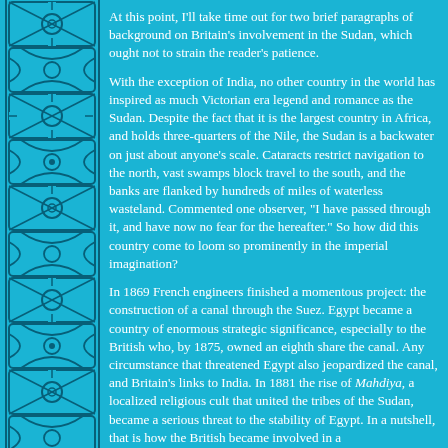[Figure (illustration): Decorative Celtic knotwork border strip on the left side of the page, teal/cyan colored with dark outlined interlaced pattern.]
At this point, I'll take time out for two brief paragraphs of background on Britain's involvement in the Sudan, which ought not to strain the reader's patience.
With the exception of India, no other country in the world has inspired as much Victorian era legend and romance as the Sudan. Despite the fact that it is the largest country in Africa, and holds three-quarters of the Nile, the Sudan is a backwater on just about anyone's scale. Cataracts restrict navigation to the north, vast swamps block travel to the south, and the banks are flanked by hundreds of miles of waterless wasteland. Commented one observer, "I have passed through it, and have now no fear for the hereafter." So how did this country come to loom so prominently in the imperial imagination?
In 1869 French engineers finished a momentous project: the construction of a canal through the Suez. Egypt became a country of enormous strategic significance, especially to the British who, by 1875, owned an eighth share the canal. Any circumstance that threatened Egypt also jeopardized the canal, and Britain's links to India. In 1881 the rise of Mahdiya, a localized religious cult that united the tribes of the Sudan, became a serious threat to the stability of Egypt. In a nutshell, that is how the British became involved in a